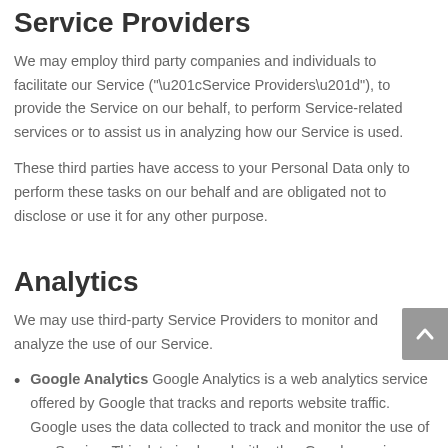Service Providers
We may employ third party companies and individuals to facilitate our Service (“Service Providers”), to provide the Service on our behalf, to perform Service-related services or to assist us in analyzing how our Service is used.
These third parties have access to your Personal Data only to perform these tasks on our behalf and are obligated not to disclose or use it for any other purpose.
Analytics
We may use third-party Service Providers to monitor and analyze the use of our Service.
Google Analytics Google Analytics is a web analytics service offered by Google that tracks and reports website traffic. Google uses the data collected to track and monitor the use of our Service. This data is shared with other Google services. Google may use the